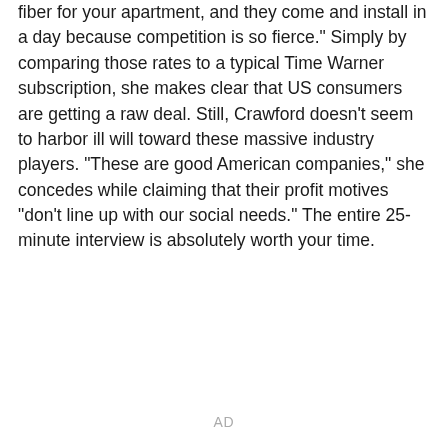fiber for your apartment, and they come and install in a day because competition is so fierce." Simply by comparing those rates to a typical Time Warner subscription, she makes clear that US consumers are getting a raw deal. Still, Crawford doesn't seem to harbor ill will toward these massive industry players. "These are good American companies," she concedes while claiming that their profit motives "don't line up with our social needs." The entire 25-minute interview is absolutely worth your time.
AD